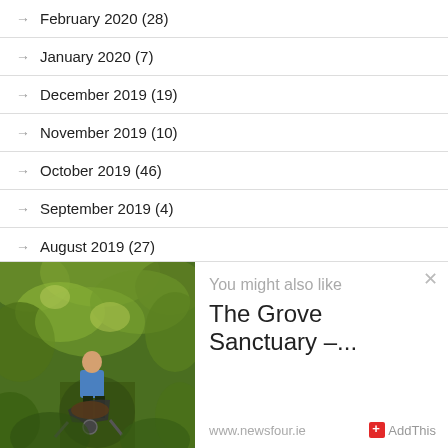→ February 2020 (28)
→ January 2020 (7)
→ December 2019 (19)
→ November 2019 (10)
→ October 2019 (46)
→ September 2019 (4)
→ August 2019 (27)
→ July 2019 (6)
→ June 2019 (35)
[Figure (photo): Man pushing a wheelbarrow through lush green forest/garden area]
You might also like
The Grove Sanctuary –...
www.newsfour.ie   + AddThis